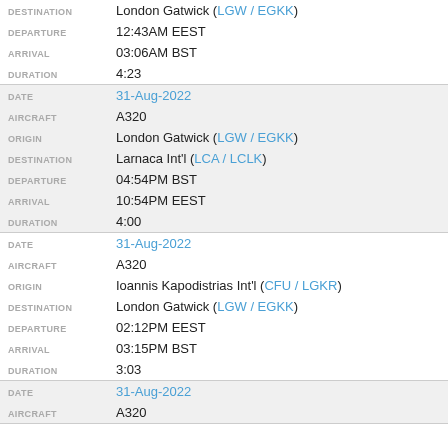| Field | Value |
| --- | --- |
| DESTINATION | London Gatwick (LGW / EGKK) |
| DEPARTURE | 12:43AM EEST |
| ARRIVAL | 03:06AM BST |
| DURATION | 4:23 |
| DATE | 31-Aug-2022 |
| AIRCRAFT | A320 |
| ORIGIN | London Gatwick (LGW / EGKK) |
| DESTINATION | Larnaca Int'l (LCA / LCLK) |
| DEPARTURE | 04:54PM BST |
| ARRIVAL | 10:54PM EEST |
| DURATION | 4:00 |
| DATE | 31-Aug-2022 |
| AIRCRAFT | A320 |
| ORIGIN | Ioannis Kapodistrias Int'l (CFU / LGKR) |
| DESTINATION | London Gatwick (LGW / EGKK) |
| DEPARTURE | 02:12PM EEST |
| ARRIVAL | 03:15PM BST |
| DURATION | 3:03 |
| DATE | 31-Aug-2022 |
| AIRCRAFT | A320 |